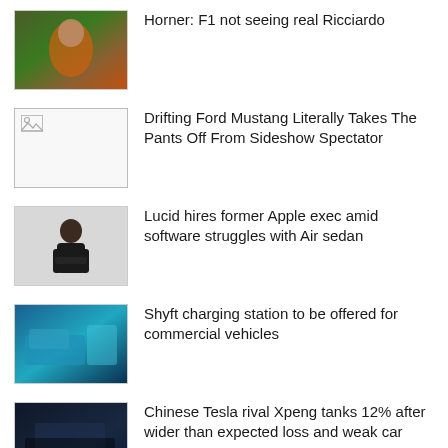[Figure (photo): Man in orange shirt, F1-related photo]
Horner: F1 not seeing real Ricciardo
[Figure (photo): Broken image placeholder]
Drifting Ford Mustang Literally Takes The Pants Off From Sideshow Spectator
[Figure (photo): Man in suit with arms crossed on white background]
Lucid hires former Apple exec amid software struggles with Air sedan
[Figure (photo): Blue Shyft commercial vehicle / charging station]
Shyft charging station to be offered for commercial vehicles
[Figure (photo): Chinese EV / Xpeng related image]
Chinese Tesla rival Xpeng tanks 12% after wider than expected loss and weak car